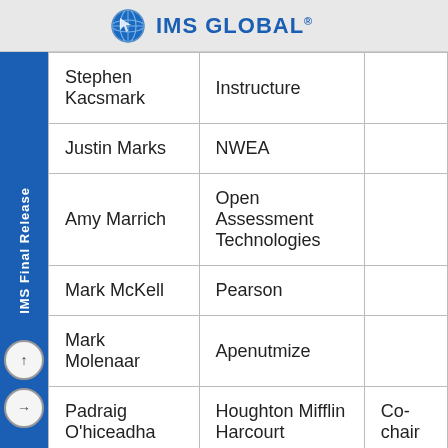IMS GLOBAL
| Name | Organization | Role |
| --- | --- | --- |
| Stephen Kacsmark | Instructure |  |
| Justin Marks | NWEA |  |
| Amy Marrich | Open Assessment Technologies |  |
| Mark McKell | Pearson |  |
| Mark Molenaar | Apenutmize |  |
| Padraig O'hiceadha | Houghton Mifflin Harcourt | Co-chair |
|  |  | Co- |